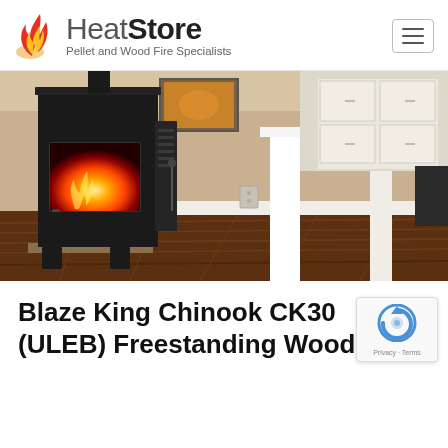HeatStore — Pellet and Wood Fire Specialists
[Figure (photo): Photo of a black Blaze King Chinook CK30 freestanding wood fire stove in an open-plan living room with hardwood floors, beige walls, white columns, and a kitchen visible in the background]
Blaze King Chinook CK30 (ULEB) Freestanding Wood Fire